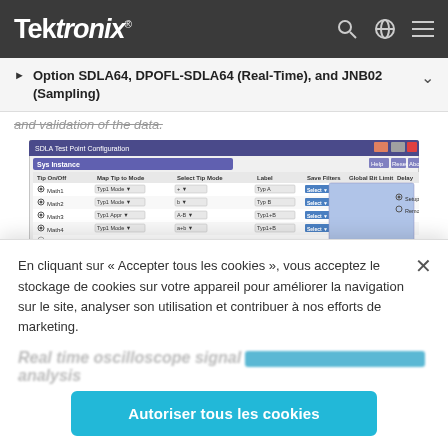Tektronix
Option SDLA64, DPOFL-SDLA64 (Real-Time), and JNB02 (Sampling)
and validation of the data.
[Figure (screenshot): SDLA Test Point Configuration dialog window showing tip selection options, map tip to mode, select tip mode, label, save filters, global bit limit, and delay columns with several rows of settings.]
SDLA Visualizer Test Point Menu with Individual Inputs,
En cliquant sur « Accepter tous les cookies », vous acceptez le stockage de cookies sur votre appareil pour améliorer la navigation sur le site, analyser son utilisation et contribuer à nos efforts de marketing.
Autoriser tous les cookies
Real time oscilloscope signal analysis
allows measurement and analysis of serial